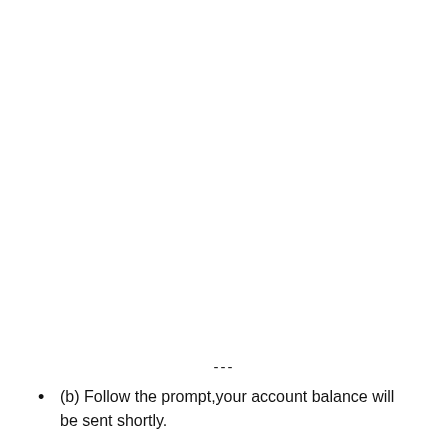---
(b) Follow the prompt,your account balance will be sent shortly.